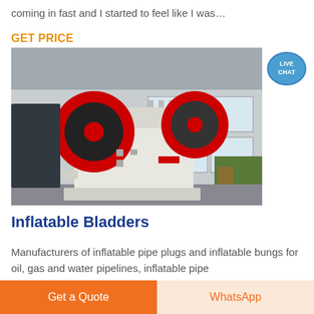coming in fast and I started to feel like I was…
GET PRICE
[Figure (photo): Industrial jaw crusher machine with two large red flywheel discs, white body, photographed outdoors in front of a building with windows and palm trees.]
[Figure (other): Live Chat badge — teal speech bubble with 'LIVE CHAT' text in white]
Inflatable Bladders
Manufacturers of inflatable pipe plugs and inflatable bungs for oil, gas and water pipelines, inflatable pipe
Get a Quote
WhatsApp